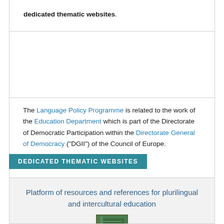dedicated thematic websites.
The Language Policy Programme is related to the work of the Education Department which is part of the Directorate of Democratic Participation within the Directorate General of Democracy ("DGII") of the Council of Europe.
DEDICATED THEMATIC WEBSITES
Platform of resources and references for plurilingual and intercultural education
[Figure (illustration): Small thumbnail image — green/teal colored book or document cover]